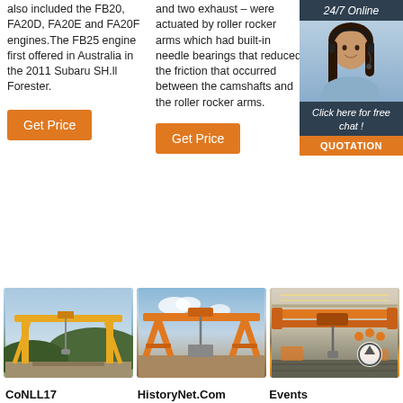also included the FB20, FA20D, FA20E and FA20F engines.The FB25 engine first offered in Australia in the 2011 Subaru SH.ll Forester.
and two exhaust – were actuated by roller rocker arms which had built-in needle bearings that reduced the friction that occurred between the camshafts and the roller rocker arms.
[Figure (photo): Customer service representative with headset, 24/7 Online chat widget with QUOTATION button]
[Figure (photo): Yellow gantry crane outdoors near hillside]
[Figure (photo): Orange single-girder gantry crane outdoors on dirt ground]
[Figure (photo): Orange overhead bridge crane inside industrial warehouse]
CoNLL17
HistoryNet.Com
Events